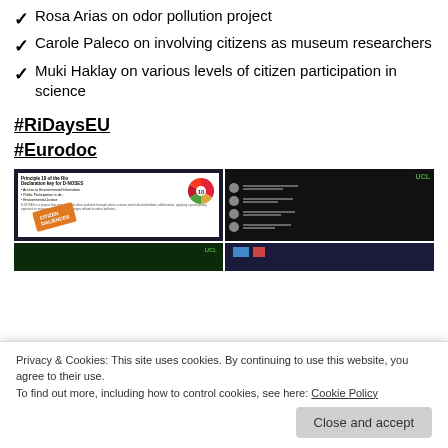Rosa Arias on odor pollution project
Carole Paleco on involving citizens as museum researchers
Muki Haklay on various levels of citizen participation in science
#RiDaysEU
#Eurodoc
[Figure (photo): Two presentation slides shown side by side: left slide titled 'Principle 10 of the Rio Declaration key for D-NOSES' with bullet points and an orange stamp overlay and a colorful wheel graphic; right slide showing UCL-branded content with circular icons and text rows on dark background.]
[Figure (photo): Bottom row of two partially visible presentation slide thumbnails, left on dark green background, right on dark blue background.]
Privacy & Cookies: This site uses cookies. By continuing to use this website, you agree to their use.
To find out more, including how to control cookies, see here: Cookie Policy
Close and accept